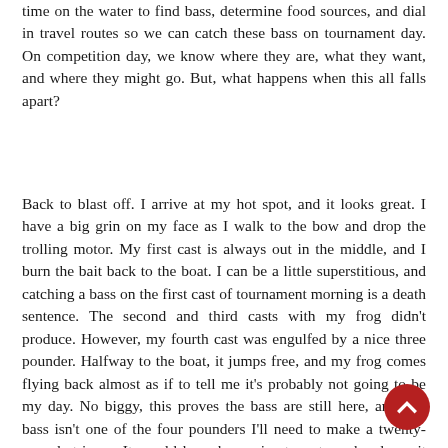time on the water to find bass, determine food sources, and dial in travel routes so we can catch these bass on tournament day. On competition day, we know where they are, what they want, and where they might go. But, what happens when this all falls apart?
Back to blast off. I arrive at my hot spot, and it looks great. I have a big grin on my face as I walk to the bow and drop the trolling motor. My first cast is always out in the middle, and I burn the bait back to the boat. I can be a little superstitious, and catching a bass on the first cast of tournament morning is a death sentence. The second and third casts with my frog didn't produce. However, my fourth cast was engulfed by a nice three pounder. Halfway to the boat, it jumps free, and my frog comes flying back almost as if to tell me it's probably not going to be my day. No biggy, this proves the bass are still here, and this bass isn't one of the four pounders I'll need to make a twenty-pound stringer. It would have been nice to put my hands on it though.
The next paragraph begins at the bottom of the page...